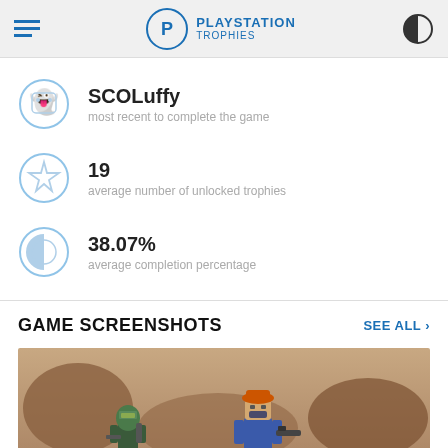PLAYSTATION TROPHIES
SCOLuffy
most recent to complete the game
19
average number of unlocked trophies
38.07%
average completion percentage
GAME SCREENSHOTS
[Figure (screenshot): Game screenshot showing LEGO Star Wars characters (Boba Fett and another character with orange hat) in a rocky desert environment]